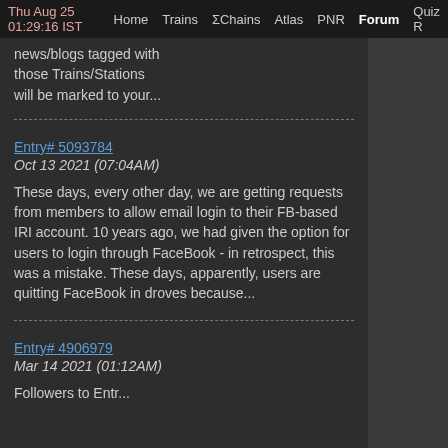Thu Aug 25 01:29:16 IST  Home  Trains  ΣChains  Atlas  PNR  Forum  Quiz R
news/blogs tagged with those Trains/Stations will be marked to your...
Entry# 5093784
Oct 13 2021 (07:04AM)
These days, every other day, we are getting requests from members to allow email login to their FB-based IRI account. 10 years ago, we had given the option for users to login through FaceBook - in retrospect, this was a mistake. These days, apparently, users are quitting FaceBook in droves because...
Entry# 4906979
Mar 14 2021 (01:12AM)
Followers to Entr...